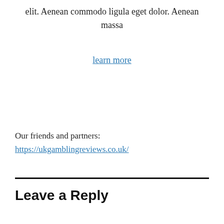elit. Aenean commodo ligula eget dolor. Aenean massa
learn more
Our friends and partners:
https://ukgamblingreviews.co.uk/
Leave a Reply